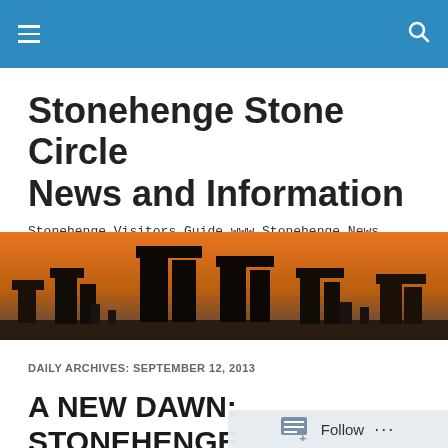Stonehenge Stone Circle News and Information — navigation bar
Stonehenge Stone Circle News and Information
Stonehenge Visitors Guide www.Stonehenge.News
[Figure (photo): Stonehenge stone circle silhouetted against an orange sunset/dawn sky]
DAILY ARCHIVES: SEPTEMBER 12, 2013
A NEW DAWN: STONEHENGE TRANSFORMED